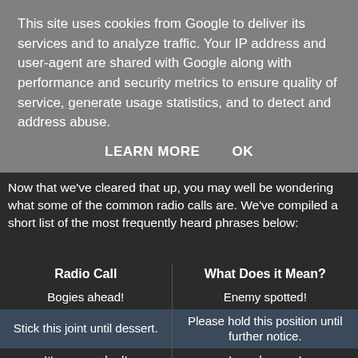This site uses cookies from Google to deliver its services and to analyze traffic. Your IP address and user-agent are shared with Google along with performance and security metrics to ensure quality of service, generate usage statistics, and to detect and address abuse.
LEARN MORE    OK
Now that we've cleared that up, you may well be wondering what some of the common radio calls are. We've compiled a short list of the most frequently heard phrases below:
| Radio Call | What Does it Mean? |
| --- | --- |
| Bogies ahead! | Enemy spotted! |
| Stick this joint until dessert. | Please hold this position until further notice. |
| It's overcooked! | I need ammo! |
| Rolling a kettle with a boned fore-leftie. | My vehicle has lost the near-side front tyre. |
| Ease up! You're cooking my turkey! | You're firing on friendlies! Check your fire! |